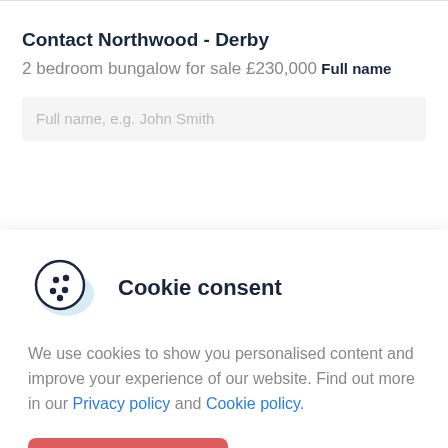Contact Northwood - Derby
2 bedroom bungalow for sale £230,000
Full name
Full name, e.g. John Smith
Cookie consent
We use cookies to show you personalised content and improve your experience of our website. Find out more in our Privacy policy and Cookie policy.
Accept all
Manage options